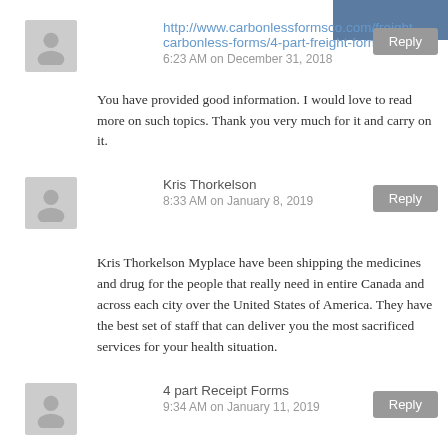will include teams ranked No. 7 to No. 25. Before ESPN wraps it all up, the four remaining New Year's Six bowl games will be announced. For the 2018 NCAA season, those four games are the Fiesta Bowl, the Peach Bowl, the Rose Bowl and the Sugar Bowl.
http://www.carbonlessformsco.com/freight-carbonless-forms/4-part-freight-forms.html
6:23 AM on December 31, 2018
You have provided good information. I would love to read more on such topics. Thank you very much for it and carry on it.
Kris Thorkelson
8:33 AM on January 8, 2019
Kris Thorkelson Myplace have been shipping the medicines and drug for the people that really need in entire Canada and across each city over the United States of America. They have the best set of staff that can deliver you the most sacrificed services for your health situation.
4 part Receipt Forms
9:34 AM on January 11, 2019
I was looking for something like this ,Thank you for posting the great content .I found it quiet interesting, hopefully you will keep posting such blogs…